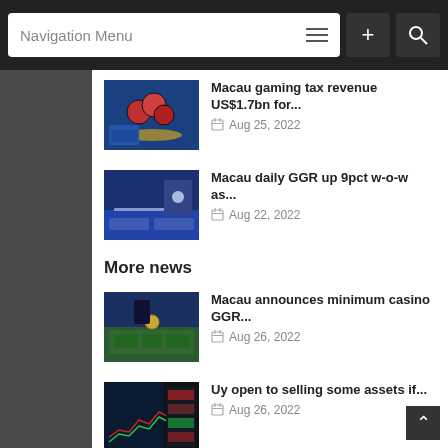Navigation Menu
Macau gaming tax revenue US$1.7bn for...
Aug 25, 2022
Macau daily GGR up 9pct w-o-w as...
Aug 22, 2022
More news
Macau announces minimum casino GGR...
Aug 26, 2022
Uy open to selling some assets if...
Aug 26, 2022